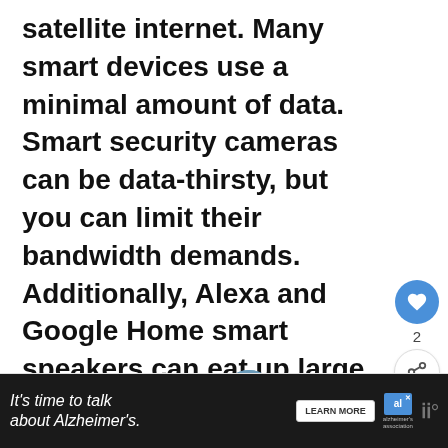satellite internet. Many smart devices use a minimal amount of data. Smart security cameras can be data-thirsty, but you can limit their bandwidth demands. Additionally, Alexa and Google Home smart speakers can eat up large amounts of data if they malfunction.
[Figure (other): Social interaction sidebar with heart/like button (blue circle, count of 2) and share button]
[Figure (other): WHAT'S NEXT navigation card with thumbnail image and text 'Are Smart Plugs a Fire...']
[Figure (other): Advertisement banner: 'It's time to talk about Alzheimer's.' with LEARN MORE button, Alzheimer's Association logo, and Merriam-Webster logo on dark background]